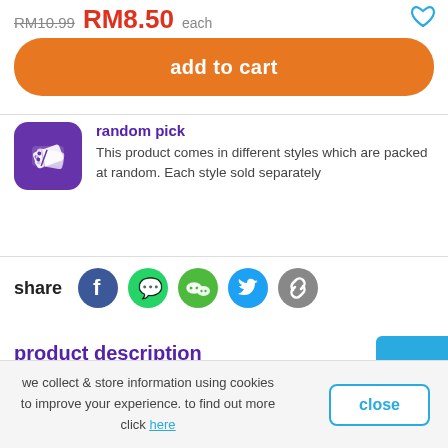RM10.99  RM8.50  each
add to cart
random pick
This product comes in different styles which are packed at random. Each style sold separately
share
product description
we collect & store information using cookies to improve your experience. to find out more click here
close